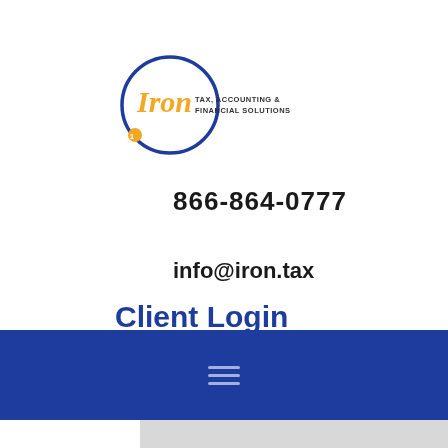[Figure (logo): Iron Tax, Accounting & Financial Solutions logo — circular blue outline with italic orange-and-dark script 'Iron' and text 'TAX, ACCOUNTING & FINANCIAL SOLUTIONS' to the right, small orange circle at bottom left of ring]
866-864-0777
info@iron.tax
Client Login
[Figure (other): Blue navigation bar with hamburger menu icon (three horizontal lines) in the center]